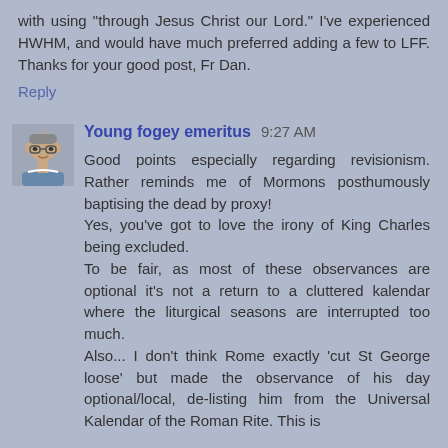with using "through Jesus Christ our Lord." I've experienced HWHM, and would have much preferred adding a few to LFF. Thanks for your good post, Fr Dan.
Reply
Young fogey emeritus  9:27 AM
Good points especially regarding revisionism. Rather reminds me of Mormons posthumously baptising the dead by proxy!
Yes, you've got to love the irony of King Charles being excluded.
To be fair, as most of these observances are optional it's not a return to a cluttered kalendar where the liturgical seasons are interrupted too much.
Also... I don't think Rome exactly 'cut St George loose' but made the observance of his day optional/local, de-listing him from the Universal Kalendar of the Roman Rite. This is